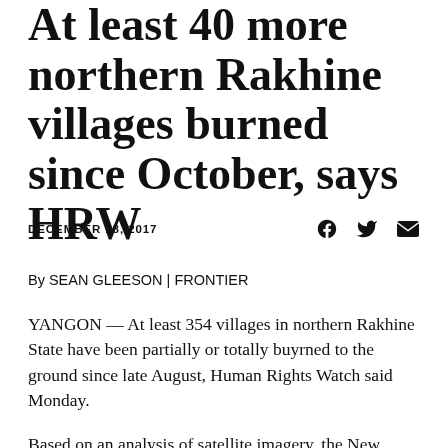At least 40 more northern Rakhine villages burned since October, says HRW
DECEMBER 18, 2017
By SEAN GLEESON | FRONTIER
YANGON — At least 354 villages in northern Rakhine State have been partially or totally buyrned to the ground since late August, Human Rights Watch said Monday.
Based on an analysis of satellite imagery, the New